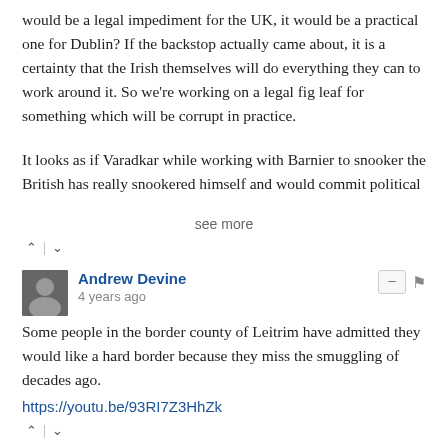would be a legal impediment for the UK, it would be a practical one for Dublin? If the backstop actually came about, it is a certainty that the Irish themselves will do everything they can to work around it. So we're working on a legal fig leaf for something which will be corrupt in practice.
It looks as if Varadkar while working with Barnier to snooker the British has really snookered himself and would commit political
see more
Andrew Devine
4 years ago
Some people in the border county of Leitrim have admitted they would like a hard border because they miss the smuggling of decades ago.
https://youtu.be/93RI7Z3HhZk
This comment was deleted.